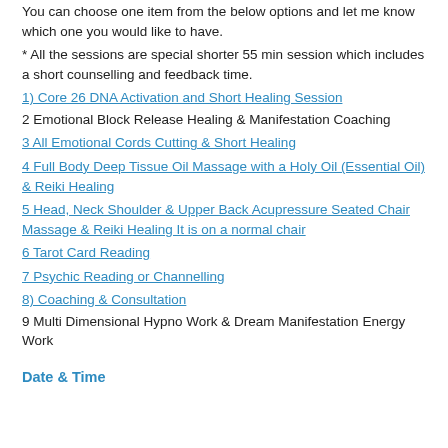You can choose one item from the below options and let me know which one you would like to have.
* All the sessions are special shorter 55 min session which includes a short counselling and feedback time.
1)  Core 26 DNA Activation and Short Healing Session
2  Emotional Block Release Healing & Manifestation Coaching
3  All Emotional Cords Cutting & Short Healing
4  Full Body Deep Tissue Oil Massage with a Holy Oil (Essential Oil) & Reiki Healing
5  Head, Neck Shoulder & Upper Back Acupressure Seated Chair Massage & Reiki Healing  It is on a normal chair
6  Tarot Card Reading
7  Psychic Reading or Channelling
8)  Coaching & Consultation
9  Multi Dimensional Hypno Work & Dream Manifestation Energy Work
Date & Time